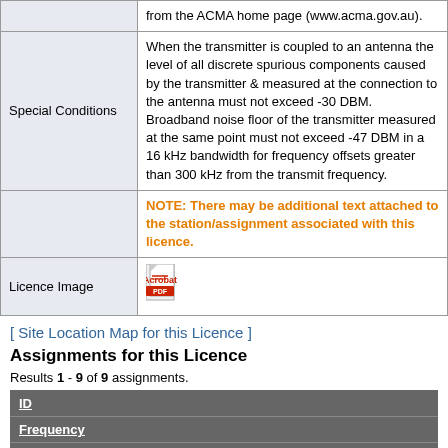|  |  |
| --- | --- |
|  | from the ACMA home page (www.acma.gov.au). |
| Special Conditions | When the transmitter is coupled to an antenna the level of all discrete spurious components caused by the transmitter & measured at the connection to the antenna must not exceed -30 DBM. Broadband noise floor of the transmitter measured at the same point must not exceed -47 DBM in a 16 kHz bandwidth for frequency offsets greater than 300 kHz from the transmit frequency. |
|  | NOTE: There may be additional text attached to the station/assignment associated with this licence. |
| Licence Image | [PDF icon] |
[ Site Location Map for this Licence ]
Assignments for this Licence
Results 1 - 9 of 9 assignments.
| ID |  |
| --- | --- |
| Frequency |  |
| Emission Designator |  |
| ID | 5018952 |